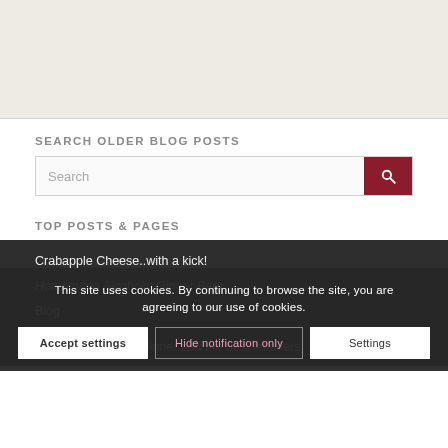[Figure (other): Advertisement banner area with light beige/cream background]
SEARCH OLDER BLOG POSTS
[Figure (other): Search input box with dark red search button containing a magnifying glass icon]
TOP POSTS & PAGES
Crabapple Cheese..with a kick!
Homemade Alcoholic Ginger Beer
Blog
Venison Christmas dinner and the best leftovers
This site uses cookies. By continuing to browse the site, you are agreeing to our use of cookies.